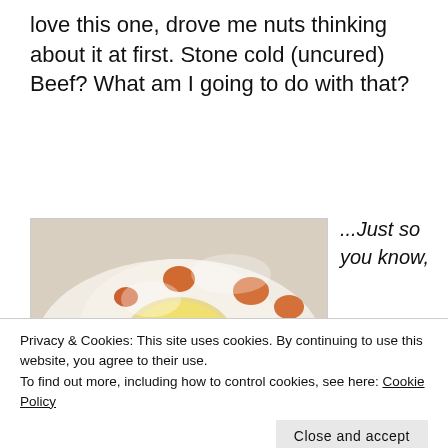love this one, drove me nuts thinking about it at first. Stone cold (uncured) Beef? What am I going to do with that?
[Figure (photo): Photo of a peeled boiled egg with orange yolk spots on top of a brown patty or meat, on a white plate, partially broken open showing yellow interior.]
...Just so you know,
Privacy & Cookies: This site uses cookies. By continuing to use this website, you agree to their use.
To find out more, including how to control cookies, see here: Cookie Policy
Close and accept
the local health shop during practice by their your